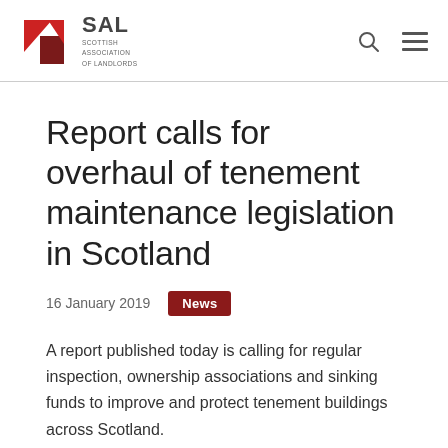[Figure (logo): SAL Scottish Association of Landlords logo with red geometric mark]
Report calls for overhaul of tenement maintenance legislation in Scotland
16 January 2019   News
A report published today is calling for regular inspection, ownership associations and sinking funds to improve and protect tenement buildings across Scotland.